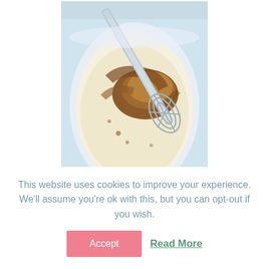[Figure (photo): Overhead view of a mixing bowl with cream/batter and brown powder (cocoa or spice) being mixed with a whisk. The bowl appears to be plastic or glass, and the whisk is visible mid-stir.]
This website uses cookies to improve your experience. We'll assume you're ok with this, but you can opt-out if you wish.
Accept
Read More